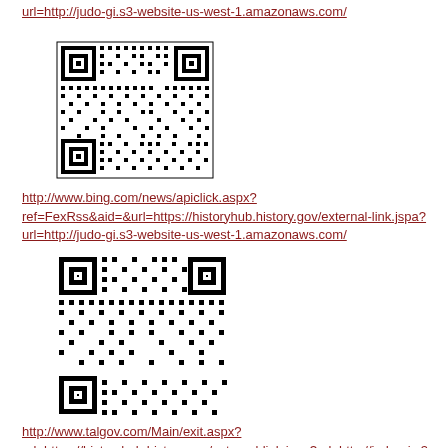url=http://judo-gi.s3-website-us-west-1.amazonaws.com/
[Figure (other): QR code linking to judo-gi.s3-website-us-west-1.amazonaws.com]
http://www.bing.com/news/apiclick.aspx?ref=FexRss&aid=&url=https://historyhub.history.gov/external-link.jspa?url=http://judo-gi.s3-website-us-west-1.amazonaws.com/
[Figure (other): QR code linking to bing.com news apiclick URL]
http://www.talgov.com/Main/exit.aspx?url=https://historyhub.history.gov/external-link.jspa?url=http://judo-gi.s3-website-us-west-1.amazonaws.com/
[Figure (other): QR code linking to talgov.com exit URL]